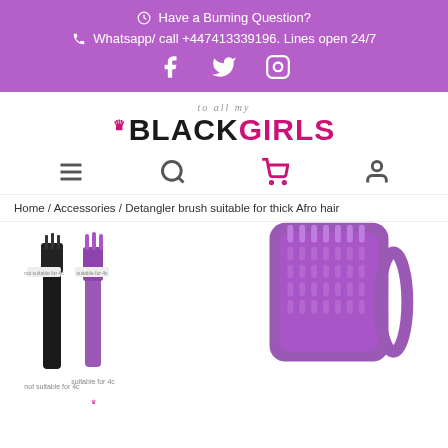Have a Burning Question? Whatsapp/ call +447413339196. Lines open 24/7
[Figure (logo): To All My Black Girls logo with crown and pink/black lettering]
[Figure (other): Navigation icons: hamburger menu, search, shopping cart (pink), user account]
Home / Accessories / Detangler brush suitable for thick Afro hair
[Figure (photo): Two detangler brushes side by side (black and purple) with product labels, and a close-up of a purple detangler brush with wide teeth]